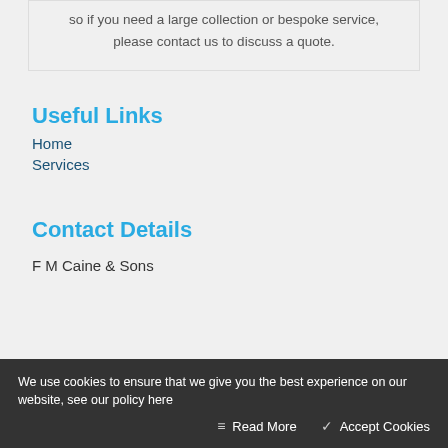so if you need a large collection or bespoke service, please contact us to discuss a quote.
Useful Links
Home
Services
Contact Details
F M Caine & Sons
We use cookies to ensure that we give you the best experience on our website, see our policy here
Read More   Accept Cookies